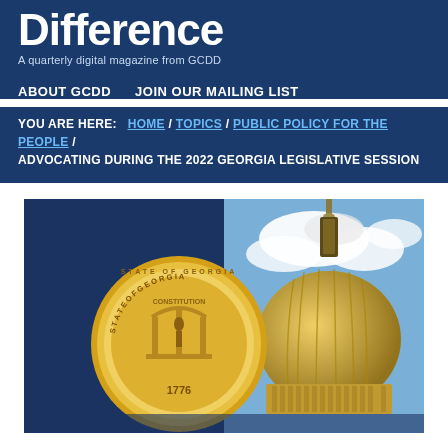Difference
A quarterly digital magazine from GCDD
ABOUT GCDD   JOIN OUR MAILING LIST
YOU ARE HERE:   HOME / TOPICS / PUBLIC POLICY FOR THE PEOPLE / ADVOCATING DURING THE 2022 GEORGIA LEGISLATIVE SESSION
[Figure (photo): Composite image showing the State of Georgia seal (gold coin with '1776' at bottom and 'STATE OF GEORGIA' text around the perimeter) on a dark navy blue background on the left, and the gold dome of the Georgia State Capitol building against a blue sky with clouds on the right.]